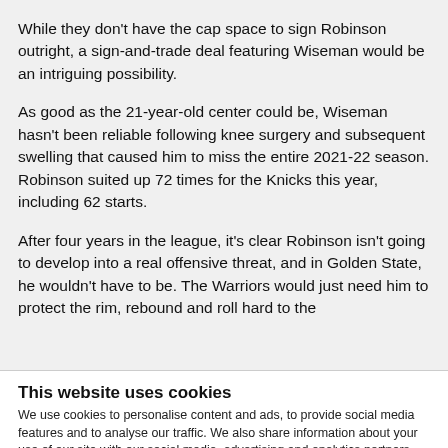While they don't have the cap space to sign Robinson outright, a sign-and-trade deal featuring Wiseman would be an intriguing possibility.
As good as the 21-year-old center could be, Wiseman hasn't been reliable following knee surgery and subsequent swelling that caused him to miss the entire 2021-22 season. Robinson suited up 72 times for the Knicks this year, including 62 starts.
After four years in the league, it's clear Robinson isn't going to develop into a real offensive threat, and in Golden State, he wouldn't have to be. The Warriors would just need him to protect the rim, rebound and roll hard to the
This website uses cookies
We use cookies to personalise content and ads, to provide social media features and to analyse our traffic. We also share information about your use of our site with our social media, advertising and analytics partners who may combine it with other information that you've provided to them or that they've collected from your use of their services.
Allow all cookies
Show details